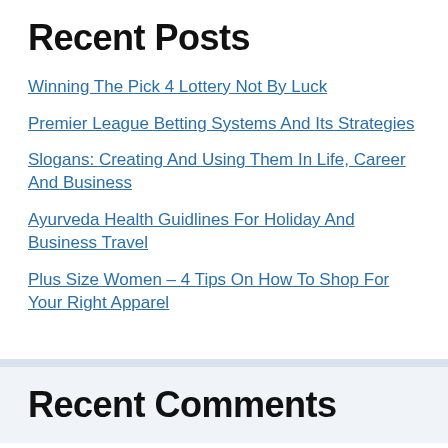Recent Posts
Winning The Pick 4 Lottery Not By Luck
Premier League Betting Systems And Its Strategies
Slogans: Creating And Using Them In Life, Career And Business
Ayurveda Health Guidlines For Holiday And Business Travel
Plus Size Women – 4 Tips On How To Shop For Your Right Apparel
Recent Comments